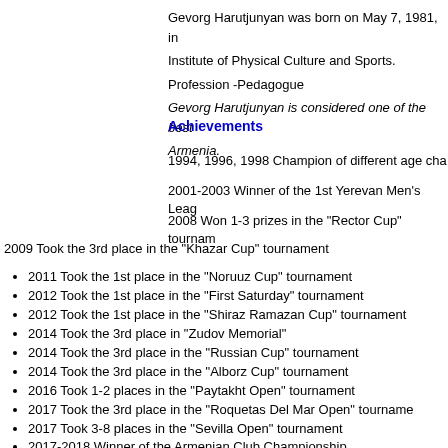Gevorg Harutjunyan was born on May 7, 1981, in Institute of Physical Culture and Sports. Profession -Pedagogue Gevorg Harutjunyan is considered one of the best Armenia.
Achievements
1994, 1996, 1998 Champion of different age cha
2001-2003 Winner of the 1st Yerevan Men's Leag
2008 Won 1-3 prizes in the "Rector Cup" tournam
2009 Took the 3rd place in the "Khazar Cup" tournament
2011 Took the 1st place in the "Noruuz Cup" tournament
2012 Took the 1st place in the "First Saturday" tournament
2012 Took the 1st place in the "Shiraz Ramazan Cup" tournament
2014 Took the 3rd place in "Zudov Memorial"
2014 Took the 3rd place in the "Russian Cup" tournament
2014 Took the 3rd place in the "Alborz Cup" tournament
2016 Took 1-2 places in the "Paytakht Open" tournament
2017 Took the 3rd place in the "Roquetas Del Mar Open" tourname
2017 Took 3-8 places in the "Sevilla Open" tournament
2017-2018 Winner of the Armenian Club Championship
2018 Took the 1st place in the "Innsbruck Open" tournament
2018 Took the 3rd place in the "Imperia Open" tournament